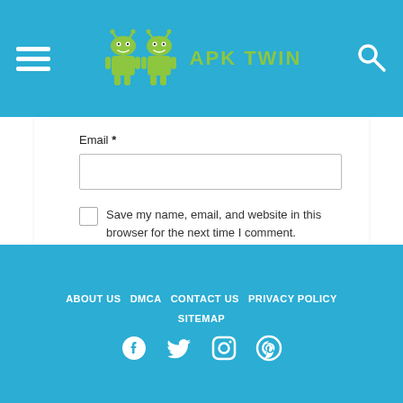APK TWIN - website header with logo and navigation
Email *
Save my name, email, and website in this browser for the next time I comment.
Submit Review
ABOUT US  DMCA  CONTACT US  PRIVACY POLICY  SITEMAP